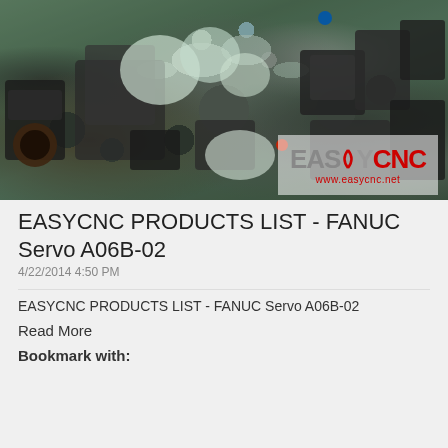[Figure (photo): Warehouse/storage area filled with industrial servo motor parts and CNC components, wrapped in plastic bags, with EASYCNC watermark logo overlay in bottom right corner showing 'EASYCNC' brand name and www.easycnc.net URL]
EASYCNC PRODUCTS LIST - FANUC Servo A06B-02
4/22/2014 4:50 PM
EASYCNC PRODUCTS LIST - FANUC Servo A06B-02
Read More
Bookmark with: